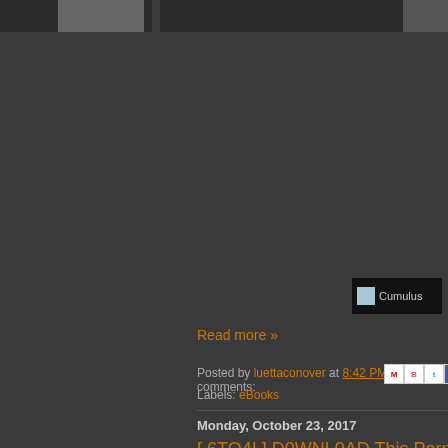[Figure (photo): Top image bar with partial thumbnail images visible]
[Figure (screenshot): Cumulus widget button with small image icon and text 'Cumulus' on dark background]
Read more »
Posted by luettaconover at 8:42 PM    No comments:
Labels: eBooks
Monday, October 23, 2017
[ 6TO4I ] D0WNL0AD This Porn Star J Vol.1 (Yaoi Manga) [ PDF EBOOK EP